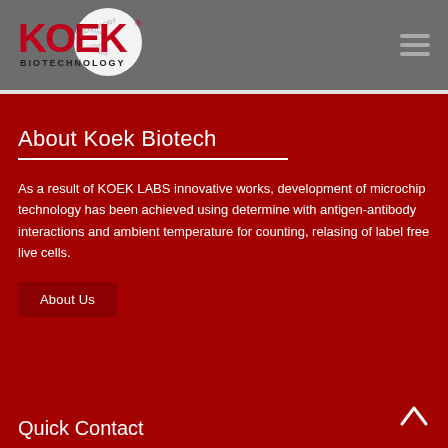[Figure (logo): KOEK Biotechnology logo with red text and globe graphic in header]
About Koek Biotech
As a result of KOEK LABS innovative works, development of microchip technology has been achieved using determine with antigen-antibody interactions and ambient temperature for counting, relasing of label free live cells.
About Us
Quick Contact